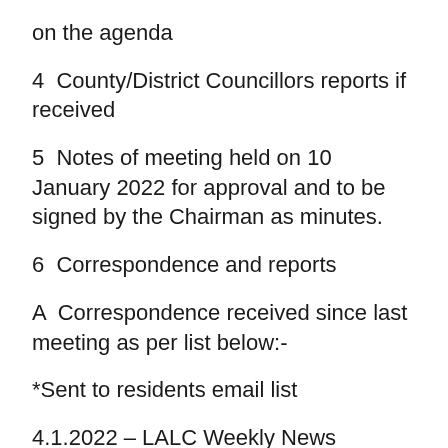on the agenda
4  County/District Councillors reports if received
5  Notes of meeting held on 10 January 2022 for approval and to be signed by the Chairman as minutes.
6  Correspondence and reports
A  Correspondence received since last meeting as per list below:-
*Sent to residents email list
4.1.2022 – LALC Weekly News
5.1.2022 – LCC Highways newsletter
6.1.2022 – The Ch...